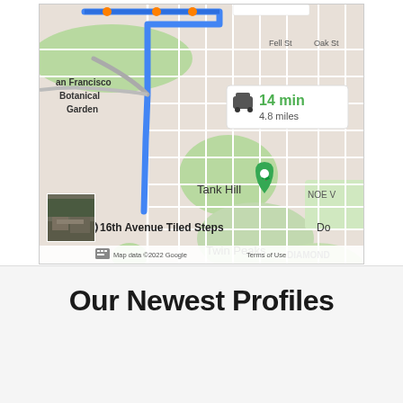[Figure (map): Google Maps screenshot showing route from a starting point to 16th Avenue Tiled Steps in San Francisco. Shows San Francisco Botanical Garden, Tank Hill, Twin Peaks, Diamond Heights, NOE V, Glen Canyon Park areas. Route info shows 14 min, 4.8 miles. A thumbnail photo of the destination is shown in lower left. Map data ©2022 Google, Terms of Use.]
Our Newest Profiles